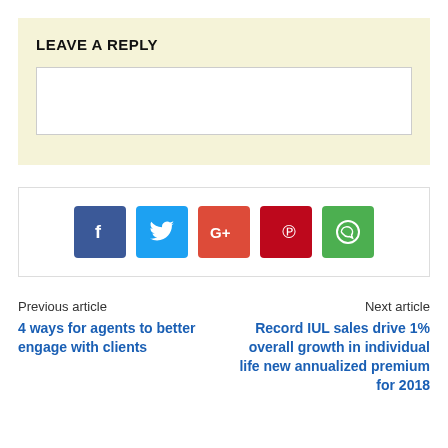LEAVE A REPLY
[comment input box]
[Figure (infographic): Row of 5 social media share icons: Facebook (blue), Twitter (light blue), Google+ (red-orange), Pinterest (dark red), WhatsApp (green)]
Previous article
4 ways for agents to better engage with clients
Next article
Record IUL sales drive 1% overall growth in individual life new annualized premium for 2018